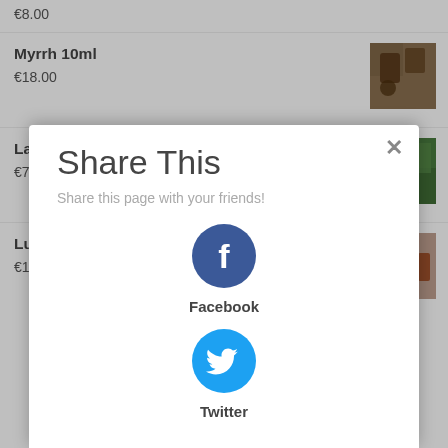€8.00
Myrrh 10ml
€18.00
Lavender Spike 10ml
€7.00
Luxury Night Facial Oil 30mls
€18.00
Share This
Share this page with your friends!
[Figure (other): Facebook share button - dark blue circle with white f letter]
Facebook
[Figure (other): Twitter share button - cyan circle with white bird icon]
Twitter